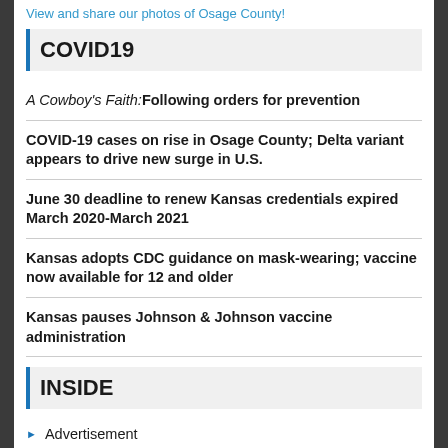View and share our photos of Osage County!
COVID19
A Cowboy's Faith:Following orders for prevention
COVID-19 cases on rise in Osage County; Delta variant appears to drive new surge in U.S.
June 30 deadline to renew Kansas credentials expired March 2020-March 2021
Kansas adopts CDC guidance on mask-wearing; vaccine now available for 12 and older
Kansas pauses Johnson & Johnson vaccine administration
INSIDE
Advertisement
Business
Faith
Featured